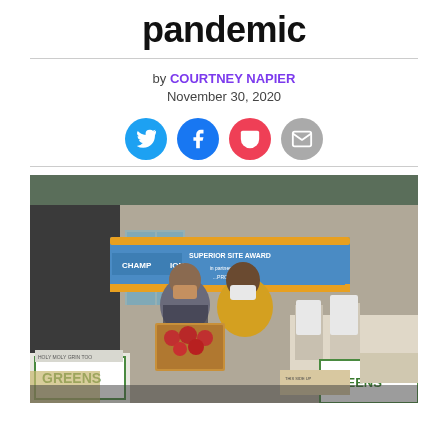pandemic
by COURTNEY NAPIER
November 30, 2020
[Figure (other): Social sharing icons: Twitter (blue circle), Facebook (blue circle), Pocket (red circle), Email (grey circle)]
[Figure (photo): Two people wearing masks standing in front of a banner that reads 'Superior Site Award' and 'Champion'. One person holds a cardboard box of red apples. Boxes labeled 'GREENS' are visible in the foreground. The setting appears to be a food distribution event outdoors.]